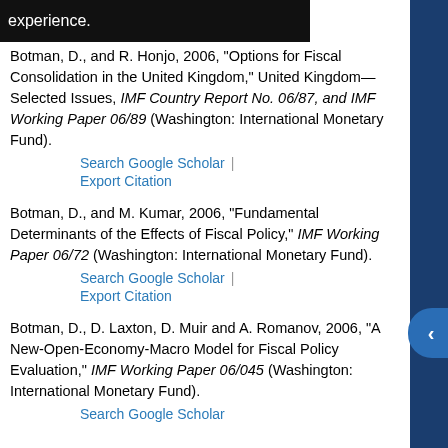experience.
Botman, D., and R. Honjo, 2006, "Options for Fiscal Consolidation in the United Kingdom," United Kingdom—Selected Issues, IMF Country Report No. 06/87, and IMF Working Paper 06/89 (Washington: International Monetary Fund).
Search Google Scholar | Export Citation
Botman, D., and M. Kumar, 2006, "Fundamental Determinants of the Effects of Fiscal Policy," IMF Working Paper 06/72 (Washington: International Monetary Fund).
Search Google Scholar | Export Citation
Botman, D., D. Laxton, D. Muir and A. Romanov, 2006, "A New-Open-Economy-Macro Model for Fiscal Policy Evaluation," IMF Working Paper 06/045 (Washington: International Monetary Fund).
Search Google Scholar